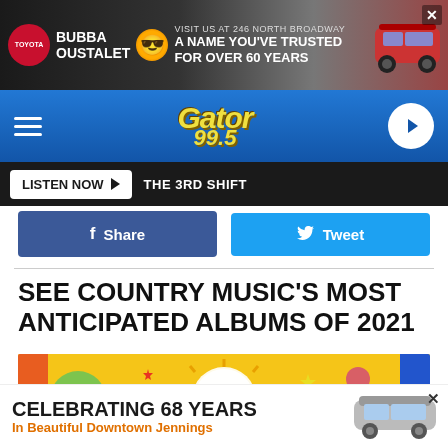[Figure (screenshot): Toyota Bubba Oustalet advertisement banner — Visit us at 246 North Broadway, A Name You've Trusted For Over 60 Years]
[Figure (logo): Gator 99.5 radio station navigation bar with hamburger menu and play button]
LISTEN NOW ▶  THE 3RD SHIFT
[Figure (screenshot): Facebook Share and Twitter Tweet social sharing buttons]
SEE COUNTRY MUSIC'S MOST ANTICIPATED ALBUMS OF 2021
[Figure (photo): Colorful album artwork featuring 'J.T.' text in a circle on a yellow background with illustrated animals and decorative elements]
[Figure (screenshot): Bottom advertisement: Celebrating 68 Years In Beautiful Downtown Jennings, with a silver car image]